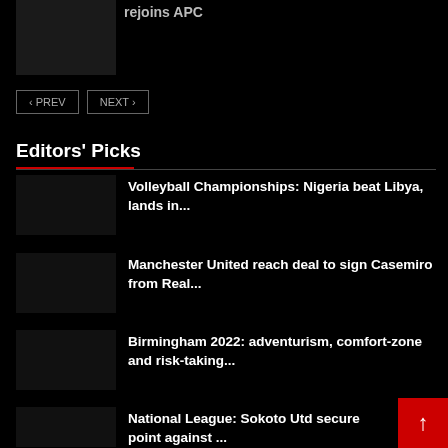[Figure (photo): Dark thumbnail image on the top-left]
rejoins APC
‹ PREV   NEXT ›
Editors' Picks
Volleyball Championships: Nigeria beat Libya, lands in...
Manchester United reach deal to sign Casemiro from Real...
Birmingham 2022: adventurism, comfort-zone and risk-taking...
National League: Sokoto Utd secure point against ... in...